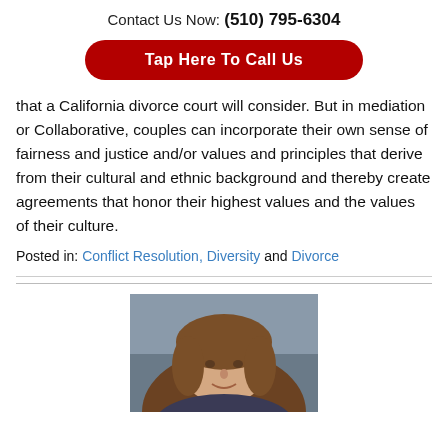Contact Us Now: (510) 795-6304
Tap Here To Call Us
that a California divorce court will consider. But in mediation or Collaborative, couples can incorporate their own sense of fairness and justice and/or values and principles that derive from their cultural and ethnic background and thereby create agreements that honor their highest values and the values of their culture.
Posted in: Conflict Resolution, Diversity and Divorce
[Figure (photo): Headshot photo of a woman with brown hair against a grey background]